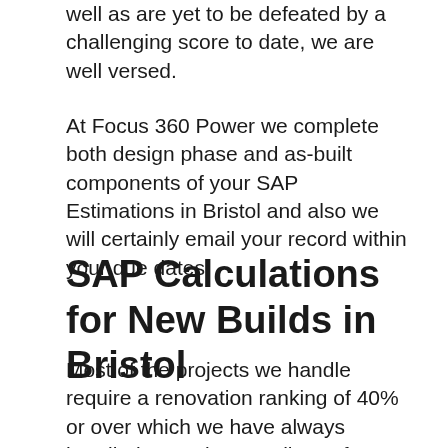well as are yet to be defeated by a challenging score to date, we are well versed.
At Focus 360 Power we complete both design phase and as-built components of your SAP Estimations in Bristol and also we will certainly email your record within your due dates.
SAP Calculations for New Builds in Bristol
Most of the projects we handle require a renovation ranking of 40% or over which we have always handled to attain regardless of occasionally having limited budget plan restrictions set out to us.